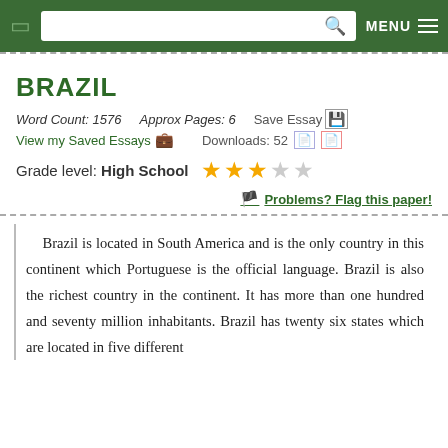MENU
BRAZIL
Word Count: 1576    Approx Pages: 6    Save Essay  View my Saved Essays    Downloads: 52
Grade level: High School  ★★★☆☆
Problems? Flag this paper!
Brazil is located in South America and is the only country in this continent which Portuguese is the official language. Brazil is also the richest country in the continent. It has more than one hundred and seventy million inhabitants. Brazil has twenty six states which are located in five different